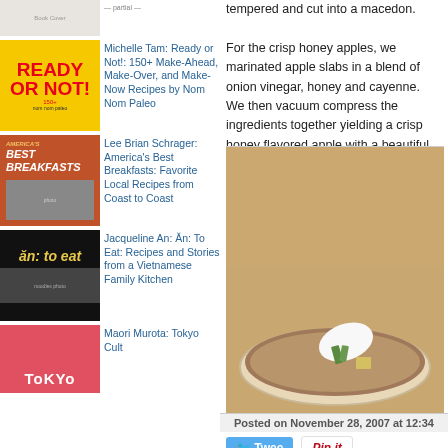[Figure (photo): Book cover - top item (partially visible)]
Michelle Tam: Ready or Not!: 150+ Make-Ahead, Make-Over, and Make-Now Recipes by Nom Nom Paleo
Lee Brian Schrager: America's Best Breakfasts: Favorite Local Recipes from Coast to Coast
Jacqueline An: Ăn: To Eat: Recipes and Stories from a Vietnamese Family Kitchen
Maori Murota: Tokyo Cult
tempered and cut into a macedon.

For the crisp honey apples, we marinated apple slabs in a blend of onion vinegar, honey and cayenne. We then vacuum compress the ingredients together yielding a crisp honey flavored apple with a beautiful translucent appearance. A bit of time under the knife and we get apple cubes.
[Figure (photo): Food photograph showing a bowl of caramel-colored soup or sauce with a white quenelle and green garnish]
Posted on November 28, 2007 at 12:34
Tweet | Pin it